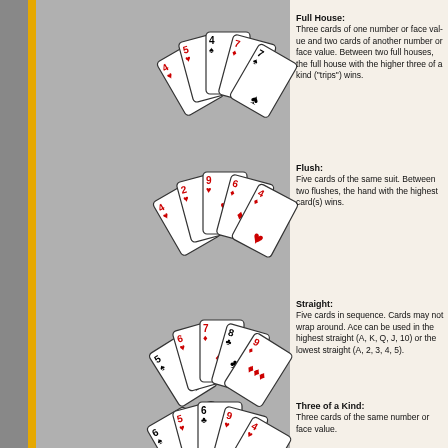[Figure (illustration): Fan of 5 playing cards showing a Full House hand (4s, 4h, 4c, 7d, 7s)]
Full House: Three cards of one number or face value and two cards of another number or face value. Between two full houses, the full house with the higher three of a kind ("trips") wins.
[Figure (illustration): Fan of 5 playing cards showing a Flush hand (4h, 2c, 9h, 6d, 4d) all hearts]
Flush: Five cards of the same suit. Between two flushes, the hand with the highest card(s) wins.
[Figure (illustration): Fan of 5 playing cards showing a Straight hand (5s, 6h, 7d, 8c, 9d)]
Straight: Five cards in sequence. Cards may not wrap around. Ace can be used in the highest straight (A, K, Q, J, 10) or the lowest straight (A, 2, 3, 4, 5).
[Figure (illustration): Fan of 5 playing cards showing Three of a Kind hand]
Three of a Kind: Three cards of the same number or face value.